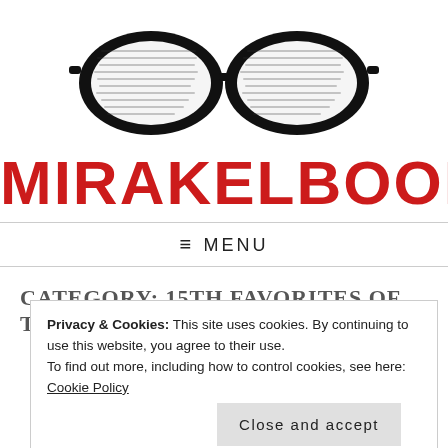[Figure (logo): Mirakelbooks logo: black thick-rimmed glasses with newspaper text visible through lenses, above the red bold text MIRAKELBOOKS]
MIRAKELBOOKS
≡ MENU
CATEGORY: 15TH FAVORITES OF THE
Privacy & Cookies: This site uses cookies. By continuing to use this website, you agree to their use.
To find out more, including how to control cookies, see here: Cookie Policy
Close and accept